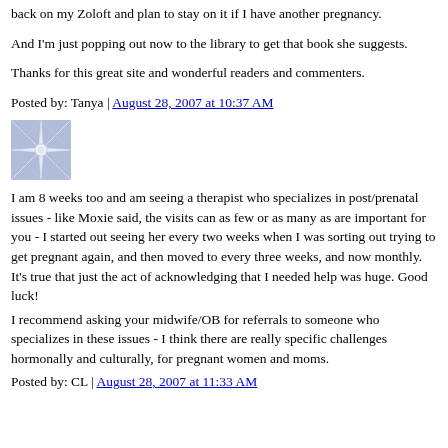back on my Zoloft and plan to stay on it if I have another pregnancy.
And I'm just popping out now to the library to get that book she suggests.
Thanks for this great site and wonderful readers and commenters.
Posted by: Tanya | August 28, 2007 at 10:37 AM
[Figure (illustration): User avatar: blue/white geometric snowflake/asterisk pattern square icon]
I am 8 weeks too and am seeing a therapist who specializes in post/prenatal issues - like Moxie said, the visits can as few or as many as are important for you - I started out seeing her every two weeks when I was sorting out trying to get pregnant again, and then moved to every three weeks, and now monthly. It's true that just the act of acknowledging that I needed help was huge. Good luck! I recommend asking your midwife/OB for referrals to someone who specializes in these issues - I think there are really specific challenges hormonally and culturally, for pregnant women and moms.
Posted by: CL | August 28, 2007 at 11:33 AM